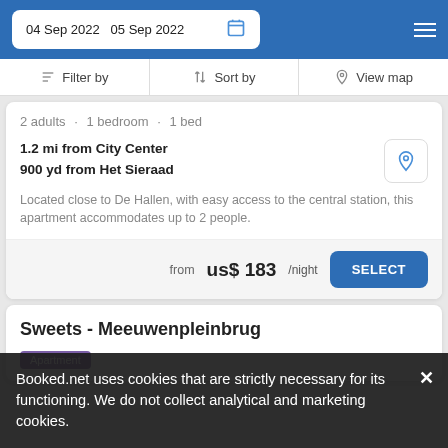04 Sep 2022  05 Sep 2022
Filter by  |  Sort by  |  View map
2 adults · 1 bedroom · 1 bed
1.2 mi from City Center
900 yd from Het Sieraad
Located close to De Hallen, with easy access to the central station, this apartment accommodates up to 2 people.
from  us$ 183/night  SELECT
Sweets - Meeuwenpleinbrug
Apartment
Booked.net uses cookies that are strictly necessary for its functioning. We do not collect analytical and marketing cookies.